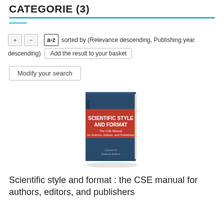CATEGORIE (3)
sorted by (Relevance descending, Publishing year descending)
Add the result to your basket
Modify your search
[Figure (photo): Book cover: Scientific Style and Format - The CSE Manual for Authors, Editors, and Publishers. Dark blue cover with red central band showing title text. Published by Council of Science Editors.]
Scientific style and format : the CSE manual for authors, editors, and publishers